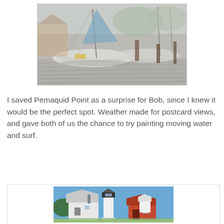[Figure (illustration): Watercolor painting of sailboats at a dock/marina, showing masts, rigging, and wooden dock structures in light grey, blue, and muted tones.]
I saved Pemaquid Point as a surprise for Bob, since I knew it would be the perfect spot. Weather made for postcard views, and gave both of us the chance to try painting moving water and surf.
[Figure (photo): Photograph of Pemaquid Point lighthouse complex showing a white lighthouse tower, keeper's house, and adjacent red-brick building under a blue sky with trees in the background.]